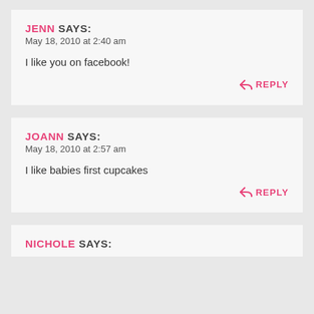JENN SAYS:
May 18, 2010 at 2:40 am

I like you on facebook!
REPLY
JOANN SAYS:
May 18, 2010 at 2:57 am

I like babies first cupcakes
REPLY
NICHOLE SAYS: